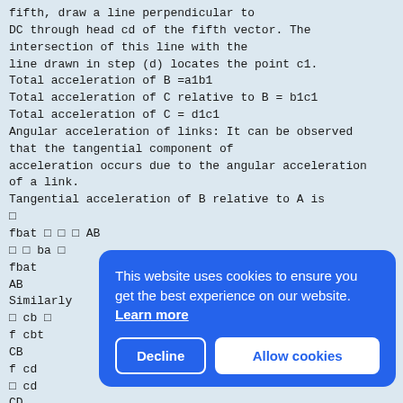fifth, draw a line perpendicular to
DC through head cd of the fifth vector. The
intersection of this line with the
line drawn in step (d) locates the point c1.
Total acceleration of B =a1b1
Total acceleration of C relative to B = b1c1
Total acceleration of C = d1c1
Angular acceleration of links: It can be observed
that the tangential component of
acceleration occurs due to the angular acceleration
of a link.
Tangential acceleration of B relative to A is
□
fbat □ □ □ AB
□ □ ba □
fbat
AB
Similarly
□ cb □
f cbt
CB
f cd
□ cd
CD
Acce
The
can
the
poin
E on
BE b
□
DC b1c1
This website uses cookies to ensure you get the best experience on our website. Learn more
Decline
Allow cookies